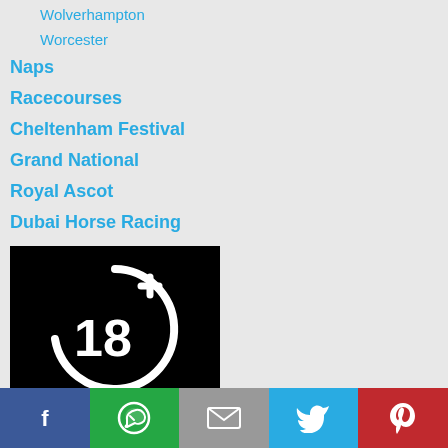Wolverhampton
Worcester
Naps
Racecourses
Cheltenham Festival
Grand National
Royal Ascot
Dubai Horse Racing
[Figure (logo): 18+ age restriction logo — white circle with '18+' text on black background]
[Figure (infographic): Social sharing bar with Facebook, WhatsApp, Email, Twitter, and Pinterest buttons]